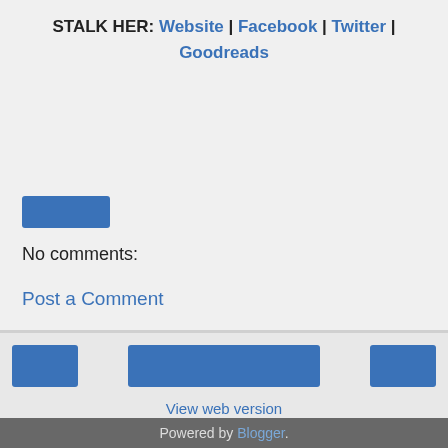STALK HER: Website | Facebook | Twitter | Goodreads
[Figure (other): Small blue share button]
No comments:
Post a Comment
[Figure (other): Three navigation buttons in footer: left arrow, center wide button, right arrow]
View web version
Powered by Blogger.